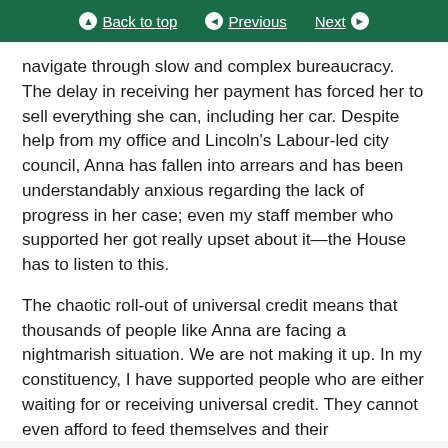Back to top | Previous | Next
navigate through slow and complex bureaucracy. The delay in receiving her payment has forced her to sell everything she can, including her car. Despite help from my office and Lincoln’s Labour-led city council, Anna has fallen into arrears and has been understandably anxious regarding the lack of progress in her case; even my staff member who supported her got really upset about it—the House has to listen to this.
The chaotic roll-out of universal credit means that thousands of people like Anna are facing a nightmarish situation. We are not making it up. In my constituency, I have supported people who are either waiting for or receiving universal credit. They cannot even afford to feed themselves and their